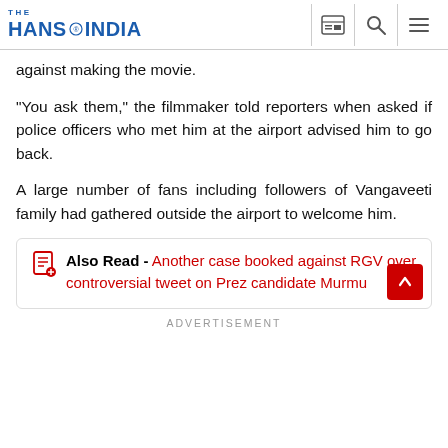THE HANS INDIA
against making the movie.
"You ask them," the filmmaker told reporters when asked if police officers who met him at the airport advised him to go back.
A large number of fans including followers of Vangaveeti family had gathered outside the airport to welcome him.
Also Read - Another case booked against RGV over controversial tweet on Prez candidate Murmu
ADVERTISEMENT